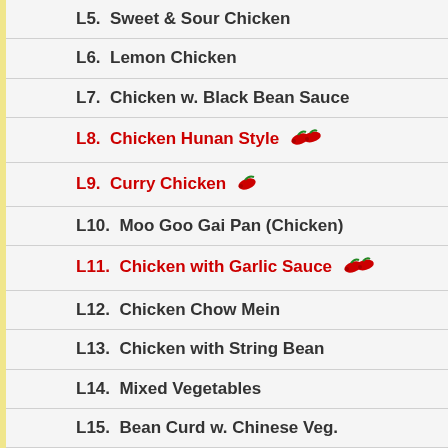L5.  Sweet & Sour Chicken
L6.  Lemon Chicken
L7.  Chicken w. Black Bean Sauce
L8.  Chicken Hunan Style 🌶️
L9.  Curry Chicken 🌶️
L10.  Moo Goo Gai Pan (Chicken)
L11.  Chicken with Garlic Sauce 🌶️
L12.  Chicken Chow Mein
L13.  Chicken with String Bean
L14.  Mixed Vegetables
L15.  Bean Curd w. Chinese Veg.
L16.  Beef with Broccoli
L17.  Beef with Green Peppers